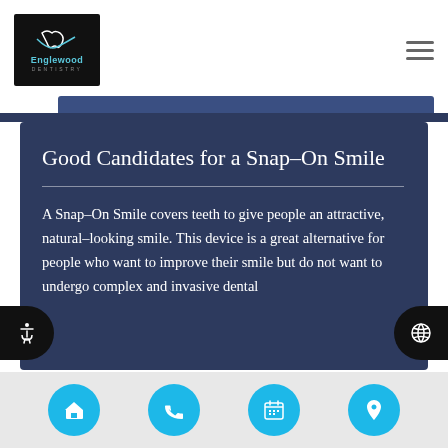[Figure (logo): Englewood Dentistry logo — tooth icon above 'Englewood' text in blue on black background]
Good Candidates for a Snap-On Smile
A Snap-On Smile covers teeth to give people an attractive, natural-looking smile. This device is a great alternative for people who want to improve their smile but do not want to undergo complex and invasive dental